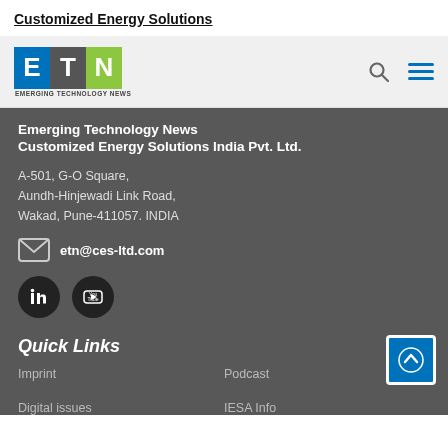Customized Energy Solutions
[Figure (logo): ETN Emerging Technology News logo with blue E, grey T, green N blocks and subtitle text]
Emerging Technology News
Customized Energy Solutions India Pvt. Ltd.
A-501, G-O Square,
Aundh-Hinjewadi Link Road,
Wakad, Pune-411057. INDIA
etn@ces-ltd.com
[Figure (logo): LinkedIn and YouTube social media icon buttons]
Quick Links
Imprint
Podcast
Digital issues
IESA Info